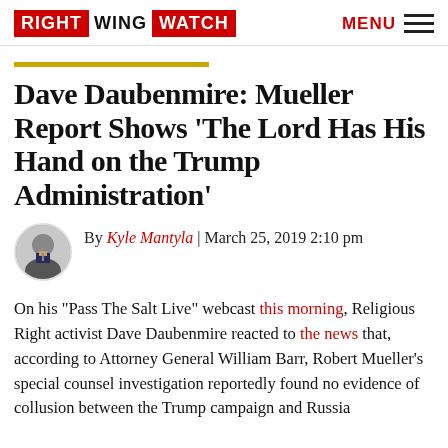RIGHT WING WATCH | MENU
Dave Daubenmire: Mueller Report Shows 'The Lord Has His Hand on the Trump Administration'
By Kyle Mantyla | March 25, 2019 2:10 pm
On his “Pass The Salt Live” webcast this morning, Religious Right activist Dave Daubenmire reacted to the news that, according to Attorney General William Barr, Robert Mueller’s special counsel investigation reportedly found no evidence of collusion between the Trump campaign and Russia